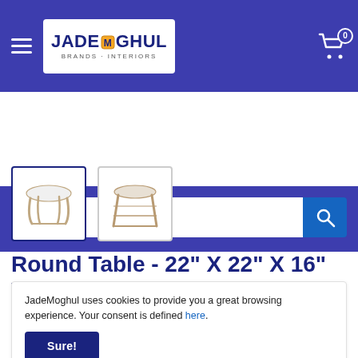[Figure (screenshot): JadeMoghul e-commerce website header with logo, hamburger menu, and cart icon on dark blue background]
[Figure (screenshot): Search bar with text input and blue search button]
[Figure (photo): Two product thumbnail images of a round table - first selected with blue border, second unselected]
Round Table - 22" X 22" X 16" White & Mocha Solid Wood Round Table
JadeMoghul uses cookies to provide you a great browsing experience. Your consent is defined here.
Sure!